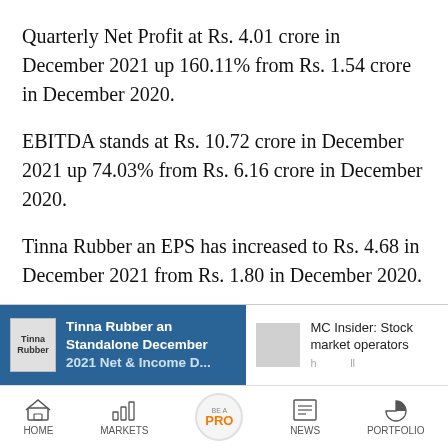Quarterly Net Profit at Rs. 4.01 crore in December 2021 up 160.11% from Rs. 1.54 crore in December 2020.
EBITDA stands at Rs. 10.72 crore in December 2021 up 74.03% from Rs. 6.16 crore in December 2020.
Tinna Rubber an EPS has increased to Rs. 4.68 in December 2021 from Rs. 1.80 in December 2020.
[Figure (screenshot): Bottom app UI with two article cards: left card (blue background) showing Tinna Rubber Standalone December 2021 article thumbnail, right card showing MC Insider: Stock market operators article thumbnail. Below is a navigation bar with HOME, MARKETS, BE A PRO, NEWS, PORTFOLIO icons.]